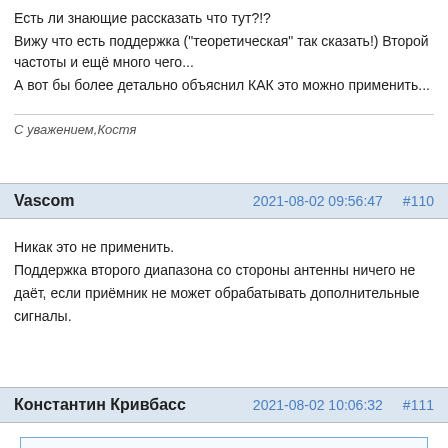Есть ли знающие рассказать что тут?!?
Вижу что есть поддержка ("теоретическая" так сказать!) Второй частоты и ещё много чего...
А вот бы более детально объяснил КАК это можно применить...
С уважением,Костя
Vascom   2021-08-02 09:56:47   #110
Никак это не применить.
Поддержка второго диапазона со стороны антенны ничего не даёт, если приёмник не может обрабатывать дополнительные сигналы.
Константин Кривбасс   2021-08-02 10:06:32   #111
Vascom wrote:
Никак это не применить.